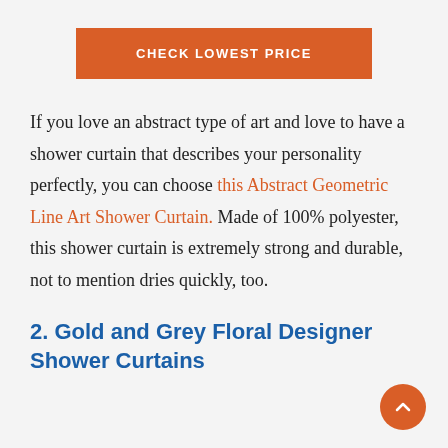[Figure (other): Orange button labeled CHECK LOWEST PRICE]
If you love an abstract type of art and love to have a shower curtain that describes your personality perfectly, you can choose this Abstract Geometric Line Art Shower Curtain. Made of 100% polyester, this shower curtain is extremely strong and durable, not to mention dries quickly, too.
2. Gold and Grey Floral Designer Shower Curtains